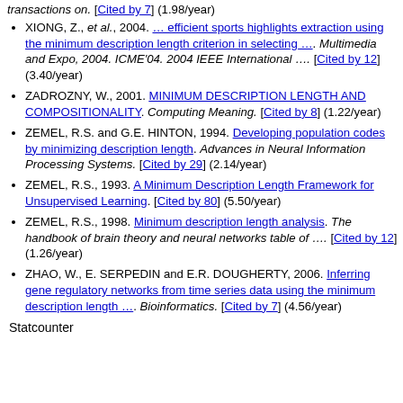XIONG, Z., et al., 2004. … efficient sports highlights extraction using the minimum description length criterion in selecting …. Multimedia and Expo, 2004. ICME'04. 2004 IEEE International …. [Cited by 12] (3.40/year)
ZADROZNY, W., 2001. MINIMUM DESCRIPTION LENGTH AND COMPOSITIONALITY. Computing Meaning. [Cited by 8] (1.22/year)
ZEMEL, R.S. and G.E. HINTON, 1994. Developing population codes by minimizing description length. Advances in Neural Information Processing Systems. [Cited by 29] (2.14/year)
ZEMEL, R.S., 1993. A Minimum Description Length Framework for Unsupervised Learning. [Cited by 80] (5.50/year)
ZEMEL, R.S., 1998. Minimum description length analysis. The handbook of brain theory and neural networks table of …. [Cited by 12] (1.26/year)
ZHAO, W., E. SERPEDIN and E.R. DOUGHERTY, 2006. Inferring gene regulatory networks from time series data using the minimum description length …. Bioinformatics. [Cited by 7] (4.56/year)
Statcounter